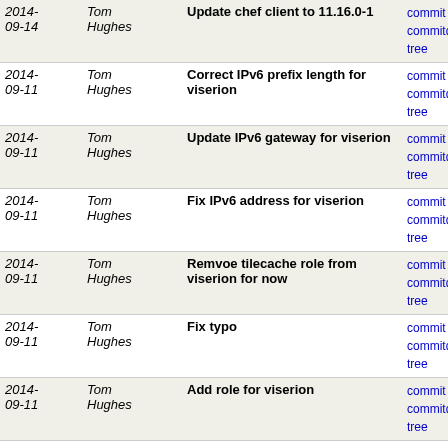| Date | Author | Message | Links |
| --- | --- | --- | --- |
| 2014-09-14 | Tom Hughes | Update chef client to 11.16.0-1 | commit | commitdiff | tree |
| 2014-09-11 | Tom Hughes | Correct IPv6 prefix length for viserion | commit | commitdiff | tree |
| 2014-09-11 | Tom Hughes | Update IPv6 gateway for viserion | commit | commitdiff | tree |
| 2014-09-11 | Tom Hughes | Fix IPv6 address for viserion | commit | commitdiff | tree |
| 2014-09-11 | Tom Hughes | Remvoe tilecache role from viserion for now | commit | commitdiff | tree |
| 2014-09-11 | Tom Hughes | Fix typo | commit | commitdiff | tree |
| 2014-09-11 | Tom Hughes | Add role for viserion | commit | commitdiff | tree |
| 2014-09-09 | Tom Hughes | Enable OCSP stapling on 14.04 machines | commit | commitdiff | tree |
| 2014-09-08 | Tom Hughes | Update carto stylesheet to v2.20.1 | commit | commitdiff | tree |
| 2014-09-06 | Tom Hughes | Update carto stylesheet to v2.20.0 | commit | commitdiff | tree |
| 2014-09-06 | Tom Hughes | Run spamassassin as debian-spamd | commit | commitdiff | tree |
| 2014-09-03 | Tom Hughes | Ignore bogus ipmi_temp warnings on G6 machines | commit | commitdiff | tree |
| 2014-09-03 | Tom Hughes | Increase parallelism of munin-update | commit | commitdiff | tree |